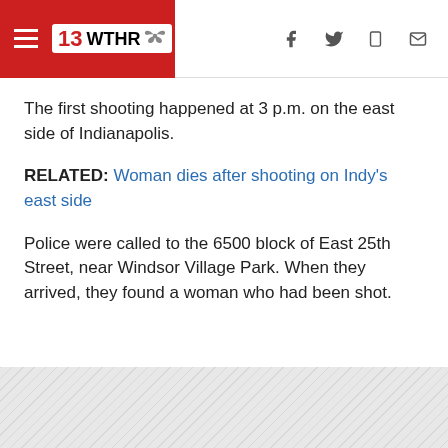13 WTHR
The first shooting happened at 3 p.m. on the east side of Indianapolis.
RELATED: Woman dies after shooting on Indy's east side
Police were called to the 6500 block of East 25th Street, near Windsor Village Park. When they arrived, they found a woman who had been shot.
[Figure (other): Gray hatched placeholder area at bottom of page]